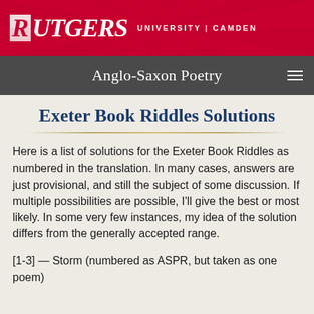RUTGERS UNIVERSITY | CAMDEN
Anglo-Saxon Poetry
Exeter Book Riddles Solutions
Here is a list of solutions for the Exeter Book Riddles as numbered in the translation. In many cases, answers are just provisional, and still the subject of some discussion. If multiple possibilities are possible, I'll give the best or most likely. In some very few instances, my idea of the solution differs from the generally accepted range.
[1-3] — Storm (numbered as ASPR, but taken as one poem)